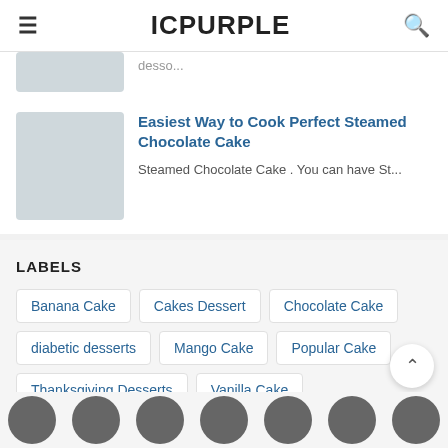ICPURPLE
desso...
Easiest Way to Cook Perfect Steamed Chocolate Cake
Steamed Chocolate Cake . You can have St...
LABELS
Banana Cake
Cakes Dessert
Chocolate Cake
diabetic desserts
Mango Cake
Popular Cake
Thanksgiving Desserts
Vanilla Cake